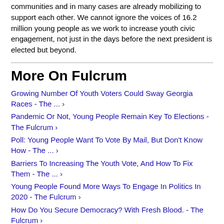communities and in many cases are already mobilizing to support each other. We cannot ignore the voices of 16.2 million young people as we work to increase youth civic engagement, not just in the days before the next president is elected but beyond.
More On Fulcrum
Growing Number Of Youth Voters Could Sway Georgia Races - The ... ›
Pandemic Or Not, Young People Remain Key To Elections - The Fulcrum ›
Poll: Young People Want To Vote By Mail, But Don't Know How - The ... ›
Barriers To Increasing The Youth Vote, And How To Fix Them - The ... ›
Young People Found More Ways To Engage In Politics In 2020 - The Fulcrum ›
How Do You Secure Democracy? With Fresh Blood. - The Fulcrum ›
Where Young People Can Have The Biggest Impact In 2020 Races - The Fulcrum ›